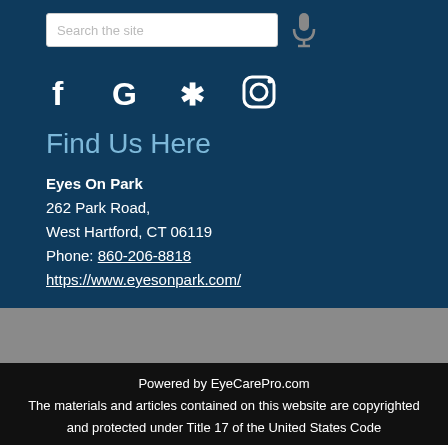[Figure (screenshot): Search box with placeholder text 'Search the site' and microphone icon]
[Figure (infographic): Social media icons: Facebook (f), Google (G), Yelp (*), Instagram (camera)]
Find Us Here
Eyes On Park
262 Park Road,
West Hartford, CT 06119
Phone: 860-206-8818
https://www.eyesonpark.com/
Powered by EyeCarePro.com
The materials and articles contained on this website are copyrighted and protected under Title 17 of the United States Code